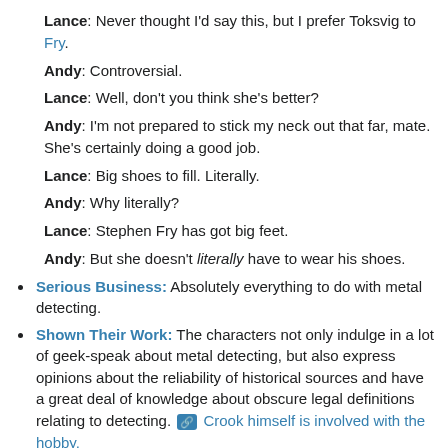Lance: Never thought I'd say this, but I prefer Toksvig to Fry.
Andy: Controversial.
Lance: Well, don't you think she's better?
Andy: I'm not prepared to stick my neck out that far, mate. She's certainly doing a good job.
Lance: Big shoes to fill. Literally.
Andy: Why literally?
Lance: Stephen Fry has got big feet.
Andy: But she doesn't literally have to wear his shoes.
Serious Business: Absolutely everything to do with metal detecting.
Shown Their Work: The characters not only indulge in a lot of geek-speak about metal detecting, but also express opinions about the reliability of historical sources and have a great deal of knowledge about obscure legal definitions relating to detecting. [icon] Crook himself is involved with the hobby.
Sitcom Arch-Nemesis: Phil and Paul, a.k.a. the Dirt